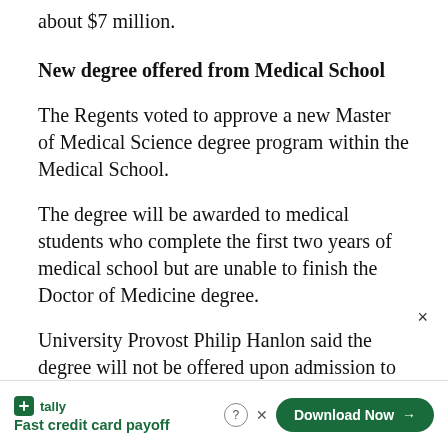about $7 million.
New degree offered from Medical School
The Regents voted to approve a new Master of Medical Science degree program within the Medical School.
The degree will be awarded to medical students who complete the first two years of medical school but are unable to finish the Doctor of Medicine degree.
University Provost Philip Hanlon said the degree will not be offered upon admission to medical school.